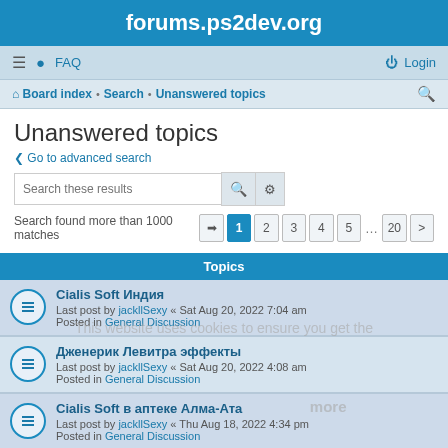forums.ps2dev.org
≡  FAQ    Login
Board index · Search · Unanswered topics
Unanswered topics
< Go to advanced search
Search these results
Search found more than 1000 matches  1 2 3 4 5 ... 20 >
Topics
Cialis Soft Индия
Last post by jackllSexy « Sat Aug 20, 2022 7:04 am
Posted in General Discussion
Дженерик Левитра эффекты
Last post by jackllSexy « Sat Aug 20, 2022 4:08 am
Posted in General Discussion
Cialis Soft в аптеке Алма-Ата
Last post by jackllSexy « Thu Aug 18, 2022 4:34 pm
Posted in General Discussion
Сиалис Софт действие таблеток